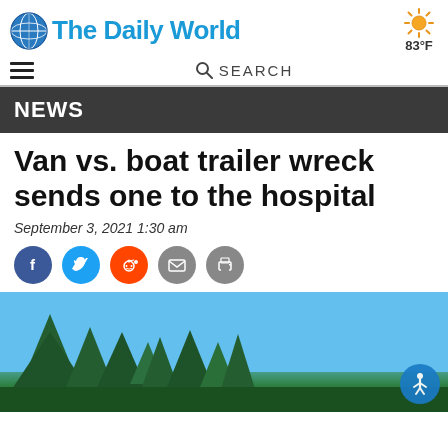The Daily World
83°F
SEARCH
NEWS
Van vs. boat trailer wreck sends one to the hospital
September 3, 2021 1:30 am
[Figure (other): Social sharing icons: Facebook, Twitter, Reddit, Email, Print]
[Figure (photo): Outdoor scene with blue sky and evergreen trees in the foreground]